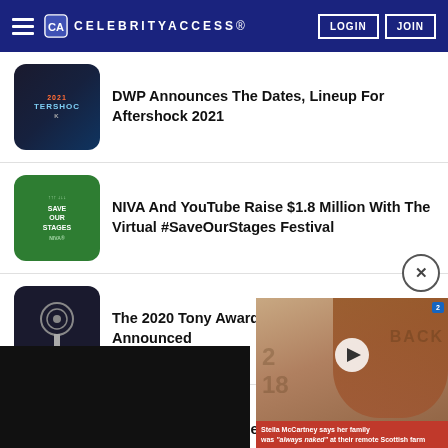CELEBRITYACCESS
DWP Announces The Dates, Lineup For Aftershock 2021
NIVA And YouTube Raise $1.8 Million With The Virtual #SaveOurStages Festival
The 2020 Tony Award Nominations Have Been Announced
Trans-Siberian Orchestra Announces Holiday Livestream
[Figure (screenshot): Video overlay showing a person with text: Stella McCartney says her family was 'always naked' at their remote Scottish farm]